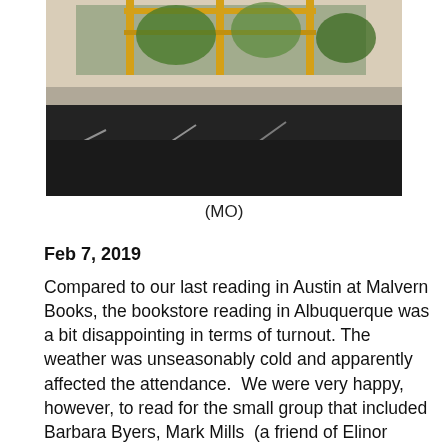[Figure (photo): Exterior photo of a building/bookstore with a dark asphalt parking lot in the foreground and yellow scaffolding/structure and green foliage visible in the upper portion.]
(MO)
Feb 7, 2019
Compared to our last reading in Austin at Malvern Books, the bookstore reading in Albuquerque was a bit disappointing in terms of turnout. The weather was unseasonably cold and apparently affected the attendance.  We were very happy, however, to read for the small group that included Barbara Byers, Mark Mills  (a friend of Elinor Nauen's), a few of BH's on-line students, Sherry Wright and her husband David (of San Francisco) and Dara Elerath, a very talented young poet and graphic designer. Margaret Randall sent her regards; she wasn't well enough to attend